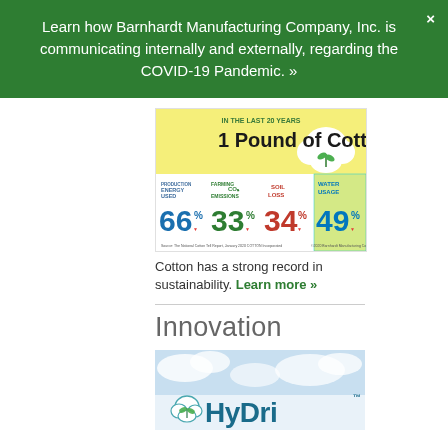Learn how Barnhardt Manufacturing Company, Inc. is communicating internally and externally, regarding the COVID-19 Pandemic. »
[Figure (infographic): Cotton sustainability infographic: IN THE LAST 20 YEARS, 1 Pound of Cotton. Four stats: PRODUCTION ENERGY USED 66% down, FARMING CO2 EMISSIONS 33% down, SOIL LOSS 34% down, WATER USAGE 49% down.]
Cotton has a strong record in sustainability. Learn more »
Innovation
[Figure (logo): HyDri logo with cotton boll icon on a sky/clouds background]